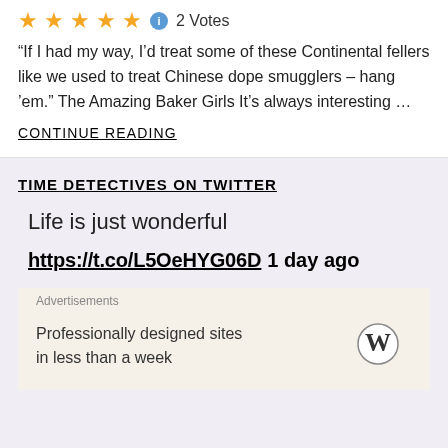[Figure (other): Five gold star rating icons followed by a blue info icon and '2 Votes' text]
“If I had my way, I’d treat some of these Continental fellers like we used to treat Chinese dope smugglers – hang ’em.” The Amazing Baker Girls It’s always interesting …
CONTINUE READING
TIME DETECTIVES ON TWITTER
Life is just wonderful
https://t.co/L5OeHYG06D 1 day ago
Advertisements
Professionally designed sites in less than a week